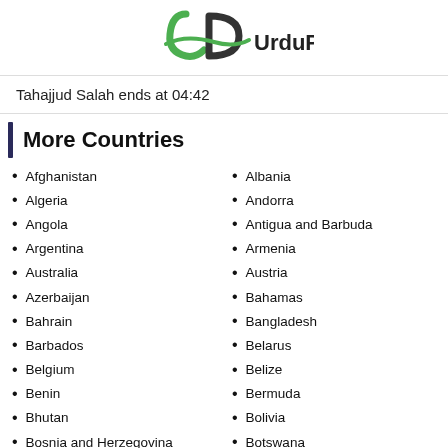UrduPoint
Tahajjud Salah ends at 04:42
More Countries
Afghanistan
Algeria
Angola
Argentina
Australia
Azerbaijan
Bahrain
Barbados
Belgium
Benin
Bhutan
Bosnia and Herzegovina
Brazil
Bulgaria
Burundi
Albania
Andorra
Antigua and Barbuda
Armenia
Austria
Bahamas
Bangladesh
Belarus
Belize
Bermuda
Bolivia
Botswana
Brunei
Burkina Faso
Cambodia